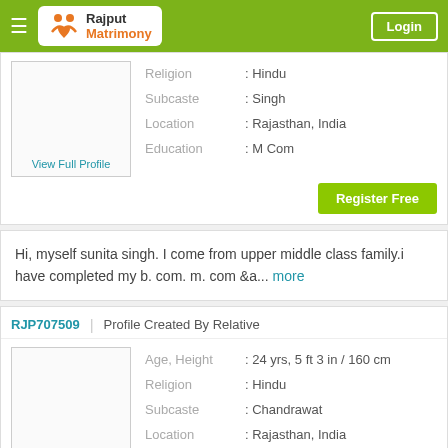Rajput Matrimony — Login
Religion : Hindu
Subcaste : Singh
Location : Rajasthan, India
Education : M Com
Register Free
Hi, myself sunita singh. I come from upper middle class family.i have completed my b. com. m. com &a... more
RJP707509 | Profile Created By Relative
Age, Height : 24 yrs, 5 ft 3 in / 160 cm
Religion : Hindu
Subcaste : Chandrawat
Location : Rajasthan, India
Education : M Com